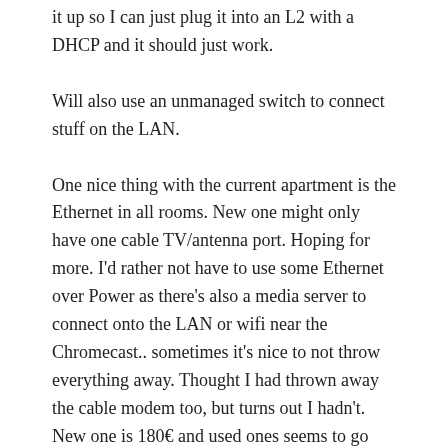it up so I can just plug it into an L2 with a DHCP and it should just work.
Will also use an unmanaged switch to connect stuff on the LAN.
One nice thing with the current apartment is the Ethernet in all rooms. New one might only have one cable TV/antenna port. Hoping for more. I'd rather not have to use some Ethernet over Power as there's also a media server to connect onto the LAN or wifi near the Chromecast.. sometimes it's nice to not throw everything away. Thought I had thrown away the cable modem too, but turns out I hadn't. New one is 180€ and used ones seems to go quite quickly on second hand marketplaces.
Pages: 1 2 3
This entry was posted in IT on 2020/07/05.